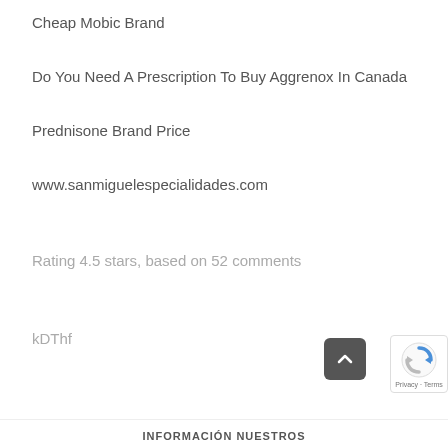Cheap Mobic Brand
Do You Need A Prescription To Buy Aggrenox In Canada
Prednisone Brand Price
www.sanmiguelespecialidades.com
Rating 4.5 stars, based on 52 comments
kDThf
INFORMACIÓN NUESTROS